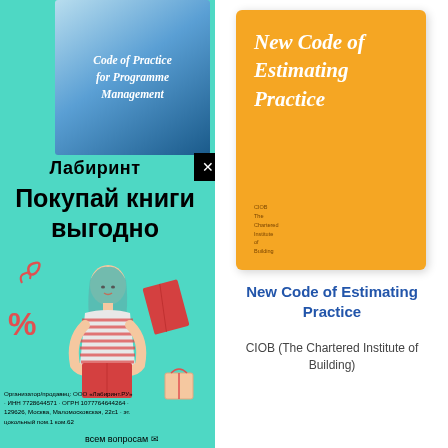[Figure (illustration): Advertisement overlay for Labirint bookstore (Лабиринт) in Russian, with teal background, showing girl reading a book, text 'Покупай книги выгодно' (Buy books profitably), and a book cover 'Code of Practice for Programme Management' in the upper portion. Footer shows company details.]
[Figure (illustration): Book cover: 'New Code of Estimating Practice' on orange/yellow background with italic white text, with small publisher text at bottom.]
New Code of Estimating Practice
CIOB (The Chartered Institute of Building)